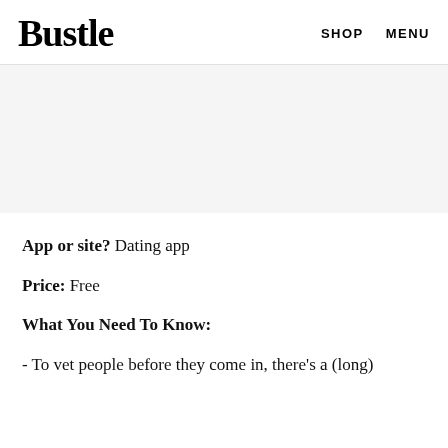Bustle  SHOP  MENU
[Figure (other): Advertisement placeholder banner, light gray background]
App or site? Dating app
Price: Free
What You Need To Know:
- To vet people before they come in, there's a (long)